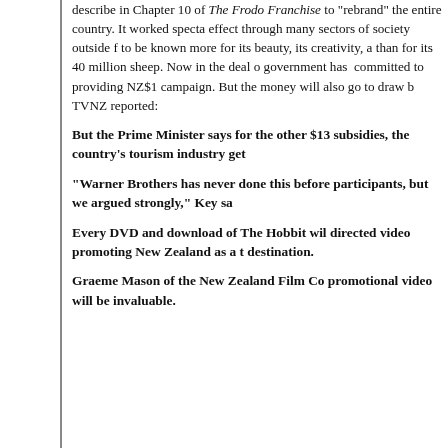describe in Chapter 10 of The Frodo Franchise to "rebrand" the entire country. It worked spectacularly, and the effect through many sectors of society outside film. NZ wanted to be known more for its beauty, its creativity, and its culture than for its 40 million sheep. Now in the deal over The Hobbit, government has committed to providing NZ$1 campaign. But the money will also go to draw b TVNZ reported:
But the Prime Minister says for the other $13 subsidies, the country's tourism industry get
"Warner Brothers has never done this before participants, but we argued strongly," Key sa
Every DVD and download of The Hobbit will directed video promoting New Zealand as a tourist destination.
Graeme Mason of the New Zealand Film Co promotional video will be invaluable.